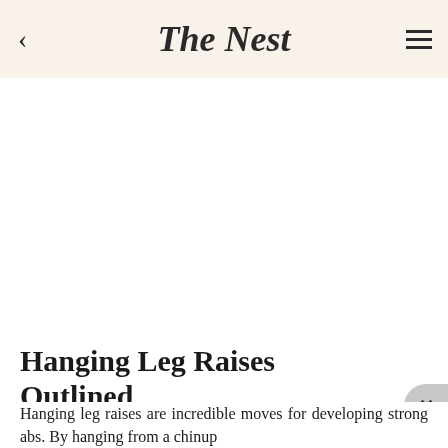The Nest
[Figure (photo): White/blank image area below the header navigation bar]
Hanging Leg Raises Outlined
Hanging leg raises are incredible moves for developing strong abs. By hanging from a chinup